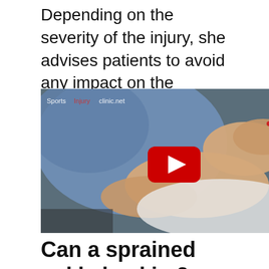Depending on the severity of the injury, she advises patients to avoid any impact on the injured ankle, including running and other athletic pursuits, for four-to-six weeks before gradually working up to previous levels.
[Figure (screenshot): A YouTube video thumbnail showing a person's ankle being examined or massaged by hands with red painted nails. The patient is lying down with a blue cloth/towel visible. A red YouTube play button is overlaid in the center. Watermark reads 'SportsInjuryclinic.net' in the top left corner.]
Can a sprained ankle heal in 2 days?